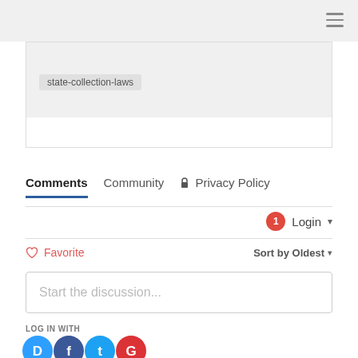state-collection-laws
Comments  Community  🔒 Privacy Policy
Login
♡ Favorite    Sort by Oldest
Start the discussion...
LOG IN WITH